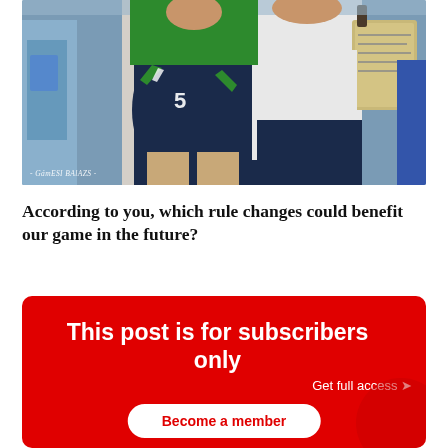[Figure (photo): Sports photo showing athletes in volleyball uniforms - navy blue and green shorts, one player in white shirt holding a clipboard/board, taken at a sports event]
- GámESI BAlAZS -
According to you, which rule changes could benefit our game in the future?
This post is for subscribers only
Get full access →
Become a member